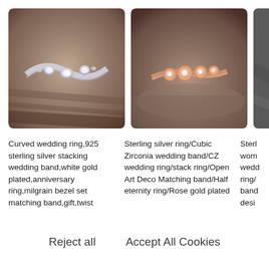[Figure (photo): Curved silver wedding ring with diamond/CZ stones in a wave shape, photographed on dark stone surface]
[Figure (photo): Rose gold ring with cubic zirconia stones in bezel settings, photographed on stone surface]
[Figure (photo): Partial view of a third ring product, cut off at right edge]
Curved wedding ring,925 sterling silver stacking wedding band,white gold plated,anniversary ring,milgrain bezel set matching band,gift,twist
Sterling silver ring/Cubic Zirconia wedding band/CZ wedding ring/stack ring/Open Art Deco Matching band/Half eternity ring/Rose gold plated
Sterl... wom... wedd... ring/s... band... desi...
Reject all
Accept All Cookies